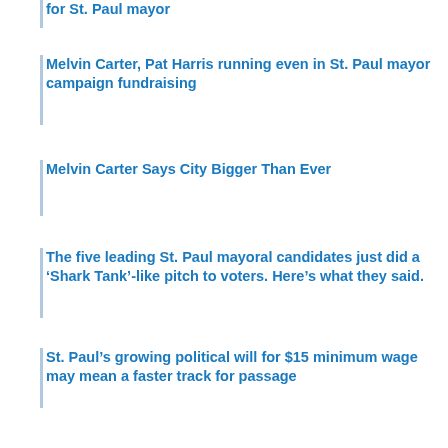for St. Paul mayor
Melvin Carter, Pat Harris running even in St. Paul mayor campaign fundraising
Melvin Carter Says City Bigger Than Ever
The five leading St. Paul mayoral candidates just did a ‘Shark Tank’-like pitch to voters. Here’s what they said.
St. Paul’s growing political will for $15 minimum wage may mean a faster track for passage
The future of the Ford site just became the clearest dividing line in